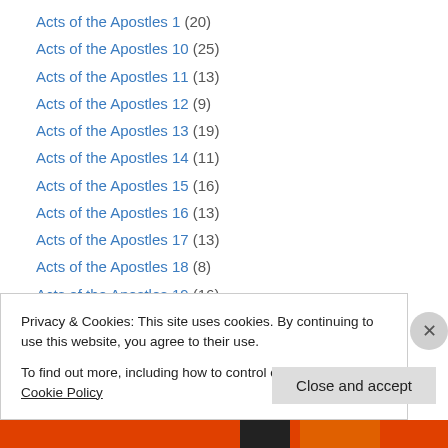Acts of the Apostles 1 (20)
Acts of the Apostles 10 (25)
Acts of the Apostles 11 (13)
Acts of the Apostles 12 (9)
Acts of the Apostles 13 (19)
Acts of the Apostles 14 (11)
Acts of the Apostles 15 (16)
Acts of the Apostles 16 (13)
Acts of the Apostles 17 (13)
Acts of the Apostles 18 (8)
Acts of the Apostles 19 (16)
Acts of the Apostles 2 (33)
Acts of the Apostles 20 (10)
Privacy & Cookies: This site uses cookies. By continuing to use this website, you agree to their use. To find out more, including how to control cookies, see here: Cookie Policy
Close and accept